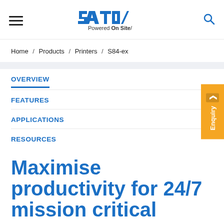[Figure (logo): SATO logo with text 'Powered On Site/' below]
Home / Products / Printers / S84-ex
OVERVIEW
FEATURES
APPLICATIONS
RESOURCES
Maximise productivity for 24/7 mission critical